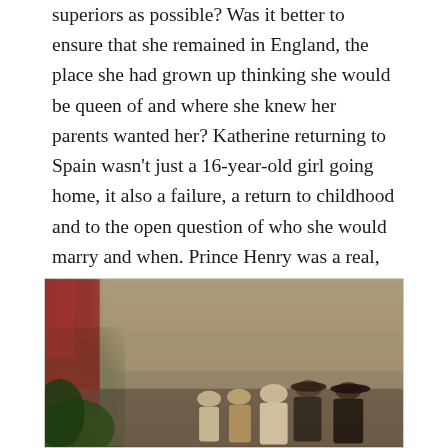superiors as possible? Was it better to ensure that she remained in England, the place she had grown up thinking she would be queen of and where she knew her parents wanted her? Katherine returning to Spain wasn't just a 16-year-old girl going home, it also a failure, a return to childhood and to the open question of who she would marry and when. Prince Henry was a real, tangible option close by – the possibility of marrying him and keeping her perceived destiny are compelling motivating factors.
[Figure (photo): A historical painting depicting a group of figures in Renaissance-era clothing, set against a muted background with a red curtain on the left and foliage at the bottom left.]